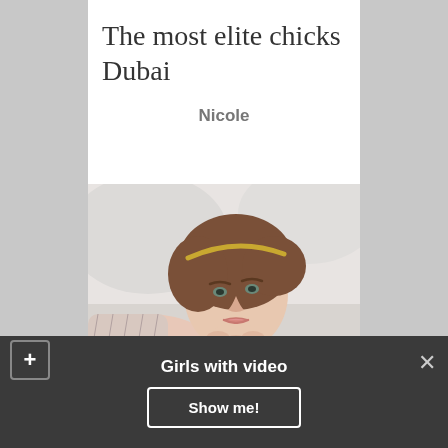The most elite chicks Dubai
Nicole
[Figure (photo): Young woman with brown hair and gold headband, posing with chin resting on hands, wearing white, looking up at camera on a light grey background]
Girls with video
Show me!